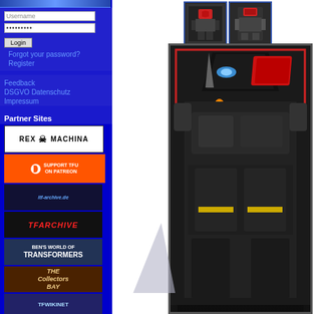Username
••••••••• (password field)
Login
Forgot your password?
Register
Feedback
DSGVO Datenschutz
Impressum
Partner Sites
[Figure (logo): Rex Machina logo banner — white background, skull icon, bold black text]
[Figure (logo): Support TFU on Patreon banner — orange/red with Patreon logo]
[Figure (logo): ITF-Archive.de banner — dark blue with stylized text]
[Figure (logo): TFArchive banner — black background red italic text]
[Figure (logo): Ben's World of Transformers banner]
[Figure (logo): The Collectors Bay banner — dark brown with golden italic text]
[Figure (logo): TFWiki.net banner]
[Figure (photo): Small thumbnail of Transformers toy robot (red/black)]
[Figure (photo): Small thumbnail of Transformers toy robot combined mode]
[Figure (illustration): Large main image: Transformers box art showing robot (Slag/Dinobot) with red helmet, dark grey body, orange flame details on dark background with red border frame]